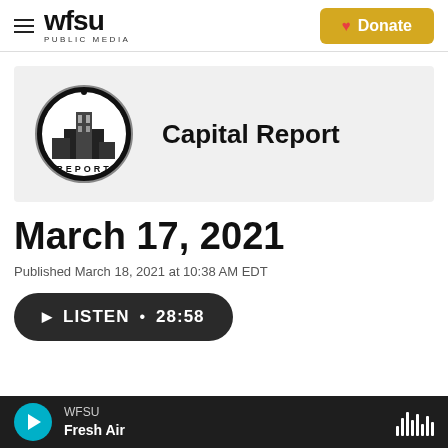WFSU PUBLIC MEDIA — Donate
[Figure (logo): Capital Report circular logo with building silhouette and REPORT text]
Capital Report
March 17, 2021
Published March 18, 2021 at 10:38 AM EDT
LISTEN • 28:58
WFSU Fresh Air (player bar)